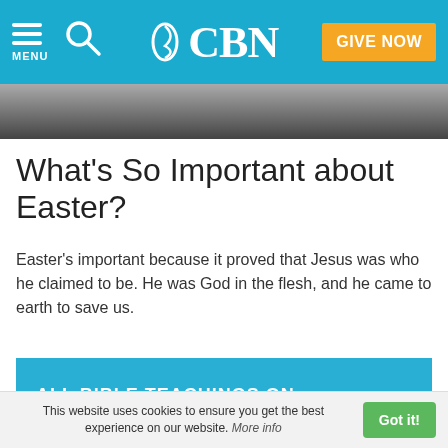CBN — MENU | Search | GIVE NOW
[Figure (photo): Partial image strip at top of article, dark/blurred photo]
What's So Important about Easter?
Easter's important because it proved that Jesus was who he claimed to be. He was God in the flesh, and he came to earth to save us.
ALL BIBLE TEACHINGS ON PROPHECY
Questions about Prophecy
This website uses cookies to ensure you get the best experience on our website. More info